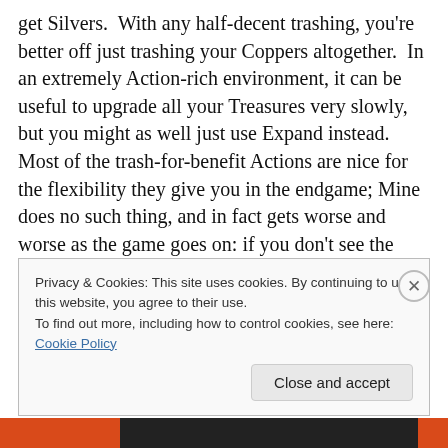get Silvers.  With any half-decent trashing, you're better off just trashing your Coppers altogether.  In an extremely Action-rich environment, it can be useful to upgrade all your Treasures very slowly, but you might as well just use Expand instead.  Most of the trash-for-benefit Actions are nice for the flexibility they give you in the endgame; Mine does no such thing, and in fact gets worse and worse as the game goes on: if you don't see the card again, Mine is a Copper you have to spend an Action on.
Privacy & Cookies: This site uses cookies. By continuing to use this website, you agree to their use.
To find out more, including how to control cookies, see here: Cookie Policy
Close and accept